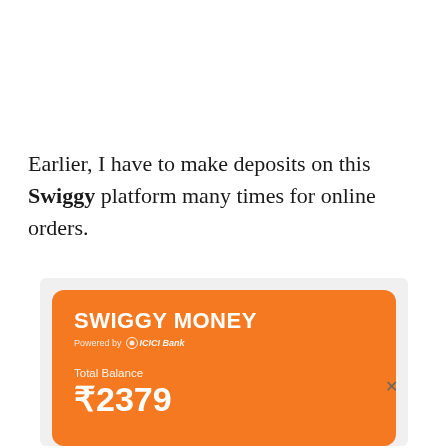Earlier, I have to make deposits on this Swiggy platform many times for online orders.
[Figure (screenshot): Screenshot of Swiggy Money digital wallet card showing orange card with 'SWIGGY MONEY' title, 'Powered by ICICI Bank' subtitle, 'Total Balance' label, and balance amount ₹2379. A close (×) button is visible at the bottom right.]